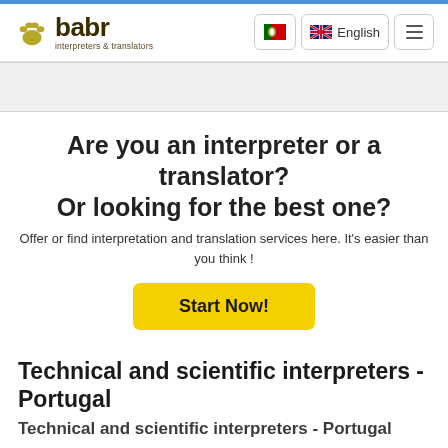[Figure (logo): babr interpreters & translators logo with paw print icon in olive/yellow and dark brown text]
[Figure (screenshot): Navigation bar with Portuguese flag button, English language button with US flag, and hamburger menu button]
Are you an interpreter or a translator? Or looking for the best one?
Offer or find interpretation and translation services here. It's easier than you think !
Technical and scientific interpreters - Portugal
Technical and scientific interpreters - Portugal